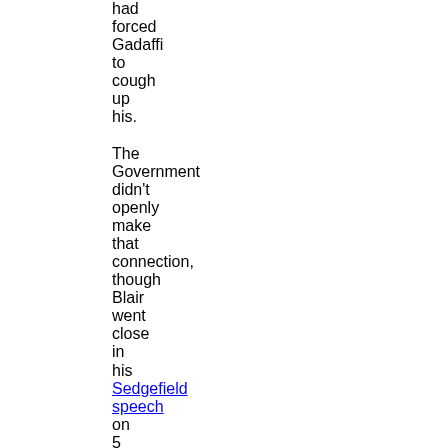had forced Gadaffi to cough up his. The Government didn't openly make that connection, though Blair went close in his Sedgefield speech on 5 March, when he poured scorn